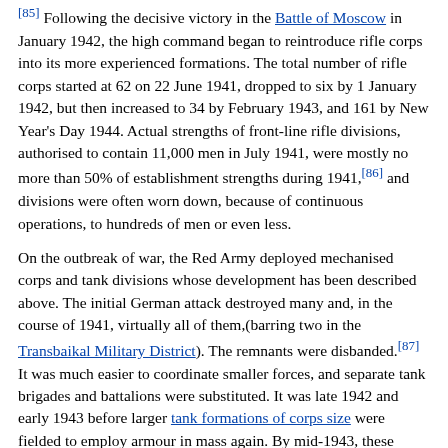[85] Following the decisive victory in the Battle of Moscow in January 1942, the high command began to reintroduce rifle corps into its more experienced formations. The total number of rifle corps started at 62 on 22 June 1941, dropped to six by 1 January 1942, but then increased to 34 by February 1943, and 161 by New Year's Day 1944. Actual strengths of front-line rifle divisions, authorised to contain 11,000 men in July 1941, were mostly no more than 50% of establishment strengths during 1941,[86] and divisions were often worn down, because of continuous operations, to hundreds of men or even less.
On the outbreak of war, the Red Army deployed mechanised corps and tank divisions whose development has been described above. The initial German attack destroyed many and, in the course of 1941, virtually all of them,(barring two in the Transbaikal Military District). The remnants were disbanded.[87] It was much easier to coordinate smaller forces, and separate tank brigades and battalions were substituted. It was late 1942 and early 1943 before larger tank formations of corps size were fielded to employ armour in mass again. By mid-1943, these corps were being grouped together into tank armies whose strength by the end of the war could be up to 700 tanks and 50,000 men.
Personnel